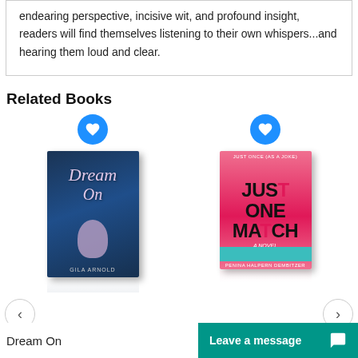endearing perspective, incisive wit, and profound insight, readers will find themselves listening to their own whispers...and hearing them loud and clear.
Related Books
[Figure (illustration): Book cover of 'Dream On' by Gila Arnold, dark blue cover with cursive title and a jar image, shown in 3D perspective with reflection]
[Figure (illustration): Book cover of 'Just One Match' a novel, bright pink cover with bold black text and a hand holding a matchstick]
Dream On
Leave a message